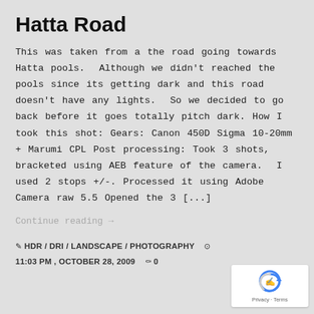Hatta Road
This was taken from a the road going towards Hatta pools.  Although we didn't reached the pools since its getting dark and this road doesn't have any lights.  So we decided to go back before it goes totally pitch dark. How I took this shot: Gears: Canon 450D Sigma 10-20mm + Marumi CPL Post processing: Took 3 shots, bracketed using AEB feature of the camera.  I used 2 stops +/-. Processed it using Adobe Camera raw 5.5 Opened the 3 [...]
Continue reading →
✎ HDR / DRI / LANDSCAPE / PHOTOGRAPHY  ⊙ 11:03 PM , OCTOBER 28, 2009  ⌂ 0
[Figure (logo): reCAPTCHA logo with Privacy and Terms footer text]